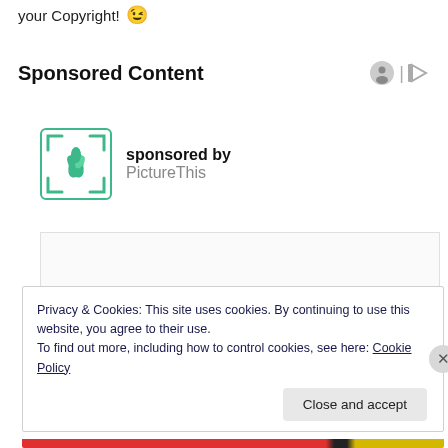your Copyright! 😉
Sponsored Content
[Figure (logo): PictureThis plant identification app logo — a green flower/leaf icon inside a square bracket frame — with text 'sponsored by PictureThis']
[Figure (other): Advertisement content area — white/light gray bordered rectangle]
Privacy & Cookies: This site uses cookies. By continuing to use this website, you agree to their use.
To find out more, including how to control cookies, see here: Cookie Policy